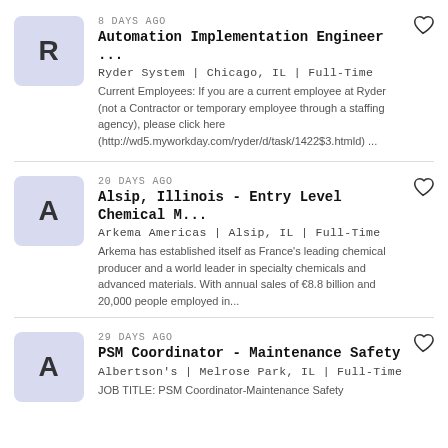8 DAYS AGO
Automation Implementation Engineer ...
Ryder System | Chicago, IL | Full-Time
Current Employees: If you are a current employee at Ryder (not a Contractor or temporary employee through a staffing agency), please click here (http://wd5.myworkday.com/ryder/d/task/1422$3.htmld) ...
20 DAYS AGO
Alsip, Illinois - Entry Level Chemical M...
Arkema Americas | Alsip, IL | Full-Time
Arkema has established itself as France's leading chemical producer and a world leader in specialty chemicals and advanced materials. With annual sales of €8.8 billion and 20,000 people employed in...
29 DAYS AGO
PSM Coordinator - Maintenance Safety
Albertson's | Melrose Park, IL | Full-Time
JOB TITLE: PSM Coordinator-Maintenance Safety